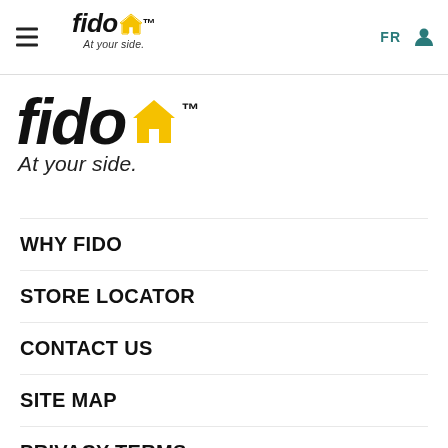fido At your side. FR [user icon]
[Figure (logo): Fido logo large — stylized bold italic text 'fido' with house icon, tagline 'At your side.' in italic]
WHY FIDO
STORE LOCATOR
CONTACT US
SITE MAP
PRIVACY TERMS